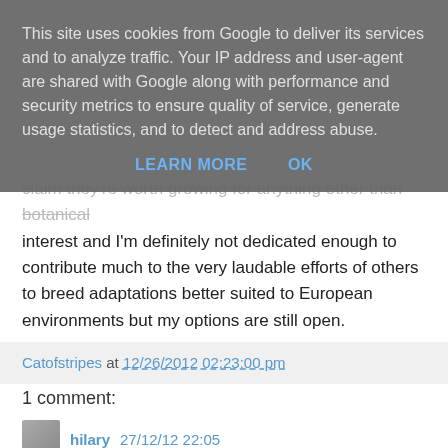This site uses cookies from Google to deliver its services and to analyze traffic. Your IP address and user-agent are shared with Google along with performance and security metrics to ensure quality of service, generate usage statistics, and to detect and address abuse.
LEARN MORE   OK
...claim they're worth growing for anything other than botanical interest and I'm definitely not dedicated enough to contribute much to the very laudable efforts of others to breed adaptations better suited to European environments but my options are still open.
Catofstripes at 12/26/2012 02:23:00 pm
1 comment:
hilary 27/12/12 22:05